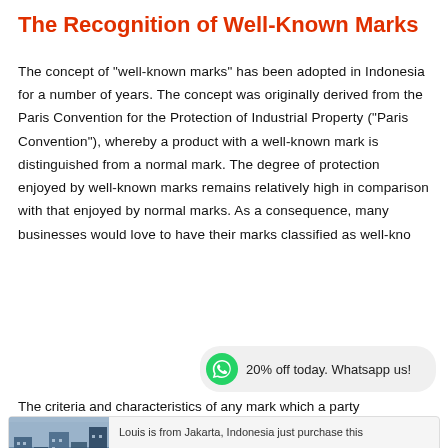The Recognition of Well-Known Marks
The concept of "well-known marks" has been adopted in Indonesia for a number of years. The concept was originally derived from the Paris Convention for the Protection of Industrial Property ("Paris Convention"), whereby a product with a well-known mark is distinguished from a normal mark. The degree of protection enjoyed by well-known marks remains relatively high in comparison with that enjoyed by normal marks. As a consequence, many businesses would love to have their marks classified as well-kno
[Figure (infographic): WhatsApp chat bubble with green WhatsApp icon and text '20% off today. Whatsapp us!']
The criteria and characteristics of any mark which a party
[Figure (infographic): Notification bar showing a building photo labeled 'Virtual Office (Indonesia)' with text 'Louis is from Jakarta, Indonesia just purchase this' and product title 'Virtual Office Indonesia (CBD) – Jak...' with a red Chat button]